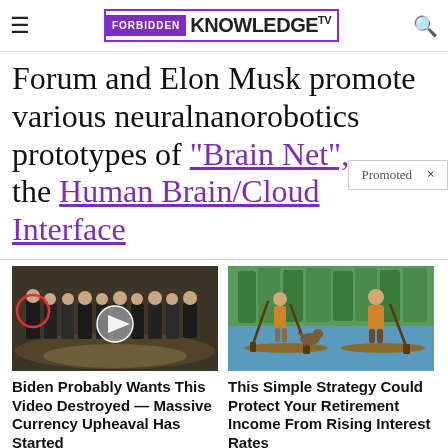FORBIDDEN KNOWLEDGE TV
Forum and Elon Musk promote various neuralnanorobotics prototypes of "Brain Net", the Human Brain/Cloud Interface
Promoted
[Figure (photo): Group of men in suits at CIA headquarters, with a red circle highlighting one person, and a video play button overlay]
Biden Probably Wants This Video Destroyed — Massive Currency Upheaval Has Started
[Figure (illustration): Illustration of two people paddle-boarding with a dog on a board, set on a lake with trees in background]
This Simple Strategy Could Protect Your Retirement Income From Rising Interest Rates